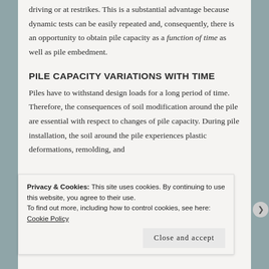driving or at restrikes. This is a substantial advantage because dynamic tests can be easily repeated and, consequently, there is an opportunity to obtain pile capacity as a function of time as well as pile embedment.
PILE CAPACITY VARIATIONS WITH TIME
Piles have to withstand design loads for a long period of time. Therefore, the consequences of soil modification around the pile are essential with respect to changes of pile capacity. During pile installation, the soil around the pile experiences plastic deformations, remolding, and
Privacy & Cookies: This site uses cookies. By continuing to use this website, you agree to their use.
To find out more, including how to control cookies, see here: Cookie Policy
Close and accept